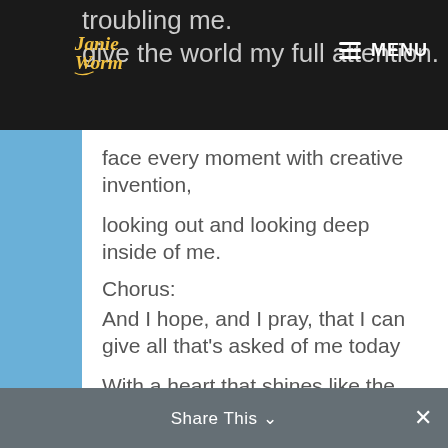troubling me.
give the world my full attention.
face every moment with creative invention,
looking out and looking deep inside of me.
Chorus:
And I hope, and I pray, that I can give all that's asked of me today
With a heart that shines like the stars above.
And whether in sunshine or in rain, there's only one thing that I hold as my aim
Share This ∨  ✕